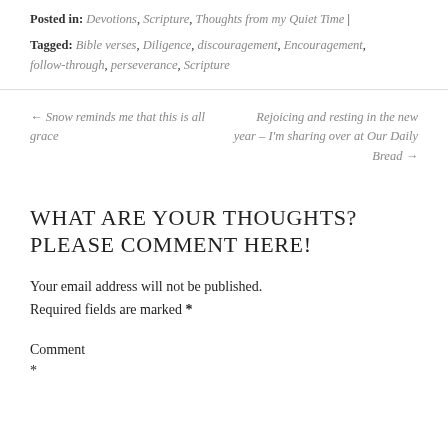Posted in: Devotions, Scripture, Thoughts from my Quiet Time | Tagged: Bible verses, Diligence, discouragement, Encouragement, follow-through, perseverance, Scripture
← Snow reminds me that this is all grace
Rejoicing and resting in the new year – I'm sharing over at Our Daily Bread →
WHAT ARE YOUR THOUGHTS? PLEASE COMMENT HERE!
Your email address will not be published. Required fields are marked *
Comment
*